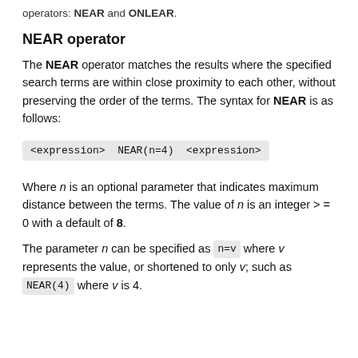operators: NEAR and ONLEAR.
NEAR operator
The NEAR operator matches the results where the specified search terms are within close proximity to each other, without preserving the order of the terms. The syntax for NEAR is as follows:
Where n is an optional parameter that indicates maximum distance between the terms. The value of n is an integer >= 0 with a default of 8.
The parameter n can be specified as n=v where v represents the value, or shortened to only v; such as NEAR(4) where v is 4.